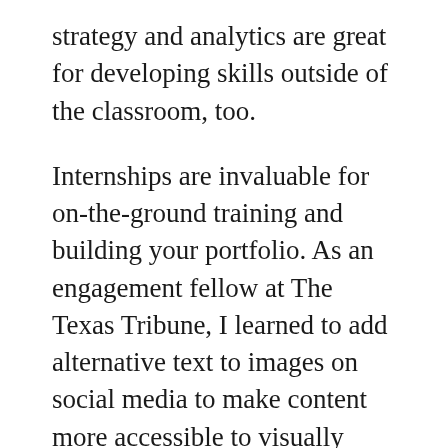strategy and analytics are great for developing skills outside of the classroom, too.
Internships are invaluable for on-the-ground training and building your portfolio. As an engagement fellow at The Texas Tribune, I learned to add alternative text to images on social media to make content more accessible to visually impaired people. I wrote and sent mobile push alerts during the 2020 presidential election as a fellow at Business